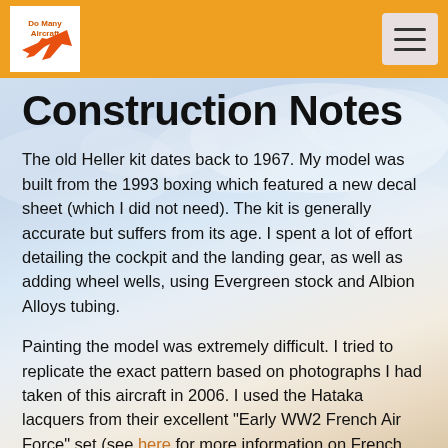Do Many Aircraft [logo with hamburger menu]
Construction Notes
The old Heller kit dates back to 1967. My model was built from the 1993 boxing which featured a new decal sheet (which I did not need). The kit is generally accurate but suffers from its age. I spent a lot of effort detailing the cockpit and the landing gear, as well as adding wheel wells, using Evergreen stock and Albion Alloys tubing.
Painting the model was extremely difficult. I tried to replicate the exact pattern based on photographs I had taken of this aircraft in 2006. I used the Hataka lacquers from their excellent "Early WW2 French Air Force" set (see here for more information on French camouflage colors). I also used some Tamiya acrylics for details, and finished the